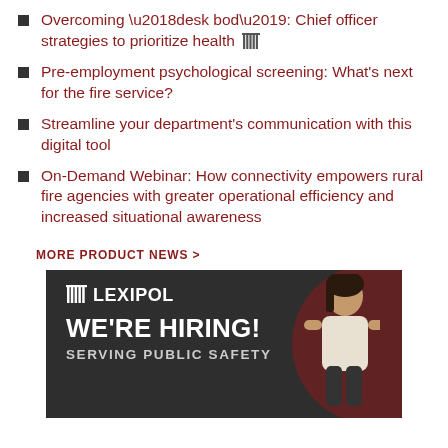Overcoming ‘desk bod’: Chief officer strategies to prioritize health ⧖
Pre-employment psychological screening: What’s next for the fire service?
Streamline your department’s communication with this digital tool
On-Demand Webinar: How connectivity empowers rural fire agencies with greater operational efficiency and increased situational awareness
MORE PRODUCT NEWS >
[Figure (illustration): Lexipol advertisement banner with dark background, Lexipol logo with columns icon, text WE’RE HIRING!, SERVING PUBLIC SAFETY, and illustrated person in background]